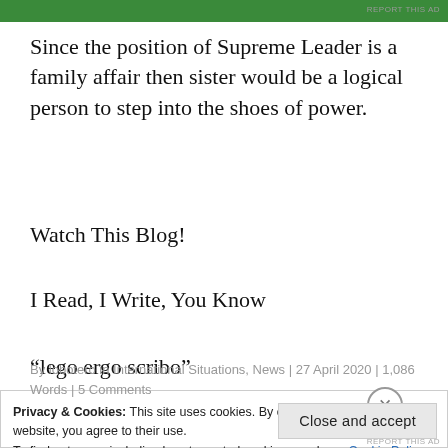[Figure (other): Green advertisement banner at top of page]
REPORT THIS AD
Since the position of Supreme Leader is a family affair then sister would be a logical person to step into the shoes of power.
Watch This Blog!
I Read, I Write, You Know
“lego ergo scribo”
By lobotero in International Situations, News | 27 April 2020 | 1,086 Words | 5 Comments
Privacy & Cookies: This site uses cookies. By continuing to use this website, you agree to their use.
To find out more, including how to control cookies, see here: Cookie Policy
Close and accept